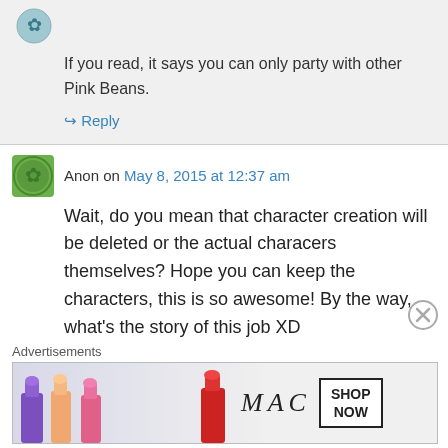If you read, it says you can only party with other Pink Beans.
↪ Reply
Anon on May 8, 2015 at 12:37 am
Wait, do you mean that character creation will be deleted or the actual characers themselves? Hope you can keep the characters, this is so awesome! By the way, what's the story of this job XD
Advertisements
[Figure (photo): MAC cosmetics advertisement banner showing lipsticks in purple, peach, pink, and red colors with MAC logo and SHOP NOW button]